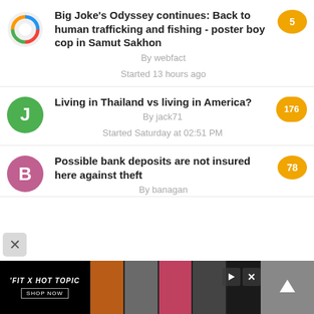Big Joke's Odyssey continues: Back to human trafficking and fishing - poster boy cop in Samut Sakhon
By webfact
Started 13 hours ago
Living in Thailand vs living in America?
By jack71
Started Saturday at 02:51 PM
Possible bank deposits are not insured here against theft
By banagan
[Figure (screenshot): Advertisement banner for 'FIT X HOT TOPIC' with shop now button and photo strip of models]